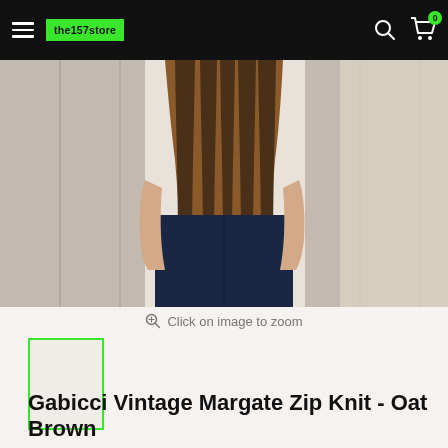the157store — navigation bar with hamburger menu, logo, search and cart icons
[Figure (photo): Person wearing a Gabicci Vintage Margate Zip Knit in Oat Brown — brown and dark striped knit vest over white long-sleeve shirt, dark jeans, standing against white wooden slat wall]
Click on image to zoom
[Figure (photo): Small thumbnail image of the product, selected state shown with green border]
Gabicci Vintage Margate Zip Knit - Oat Brown